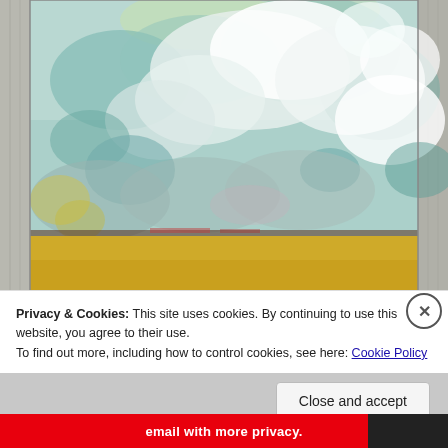[Figure (illustration): Oil painting of a prairie landscape with billowing white and teal-tinted clouds filling most of the canvas, a wide golden wheat field in the lower portion, and a narrow dark horizon line with hints of red. Painted on canvas, photographed against a grey wooden plank background. Artist signature visible in lower right.]
Privacy & Cookies: This site uses cookies. By continuing to use this website, you agree to their use.
To find out more, including how to control cookies, see here: Cookie Policy
Close and accept
email with more privacy.